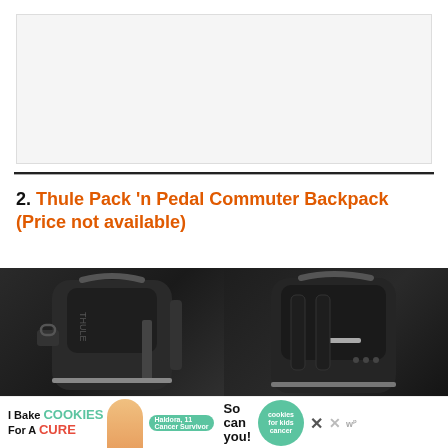[Figure (photo): Large blank/light gray placeholder image area at top of page]
2. Thule Pack 'n Pedal Commuter Backpack (Price not available)
[Figure (photo): Two views of a black Thule Pack 'n Pedal Commuter Backpack against a dark background — left view shows front with Thule branding and lock, right view shows back/side angle]
[Figure (other): Advertisement banner: 'I Bake COOKIES For A CURE' with Haldora, 11 Cancer Survivor, and 'So can you!' with cookies for kids cancer logo and close buttons]